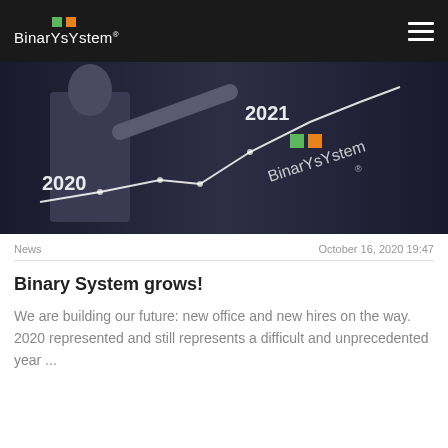BinarySystem
[Figure (photo): A person in a suit pointing at a rising line chart with '2020' and '2021' labels and BinarySystem logo overlaid on a dark background]
News	October 16, 2020 19:47
Binary System grows!
We are building our future: new office and new hires on the way. 2020 represented and still represents a difficult and unprecedented year ...